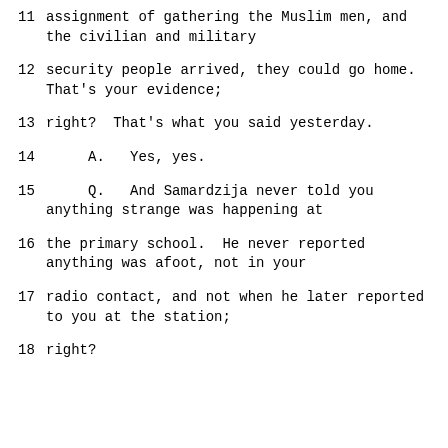11     assignment of gathering the Muslim men, and the civilian and military
12     security people arrived, they could go home. That's your evidence;
13     right?  That's what you said yesterday.
14       A.   Yes, yes.
15       Q.   And Samardzija never told you anything strange was happening at
16     the primary school.  He never reported anything was afoot, not in your
17     radio contact, and not when he later reported to you at the station;
18     right?